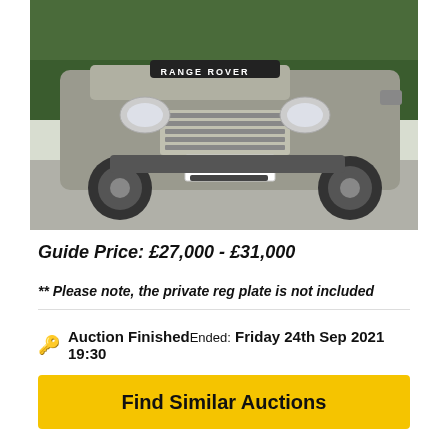[Figure (photo): Front view of a Range Rover SUV with licence plate T12 XSD, silver/grey colour, parked on a driveway with green hedge in background]
Guide Price: £27,000 - £31,000
** Please note, the private reg plate is not included
Auction FinishedEnded: Friday 24th Sep 2021 19:30
Find Similar Auctions